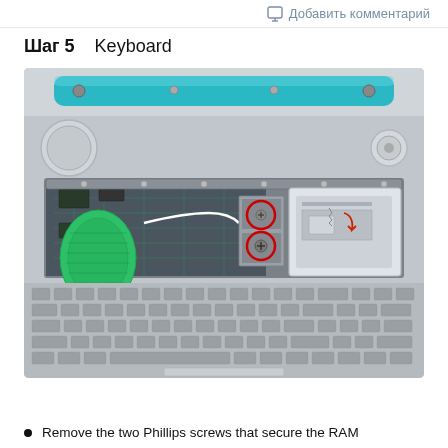Добавить комментарий
Шаг 5   Keyboard
[Figure (photo): Disassembled laptop showing the keyboard area removed, revealing internal components. Two red circles highlight Phillips screws securing the RAM shield/bracket. A green flexible ribbon cable is visible on the left side. A small inset diagram in the upper right shows a close-up illustration of the screw removal procedure with a red arrow indicating direction.]
Remove the two Phillips screws that secure the RAM